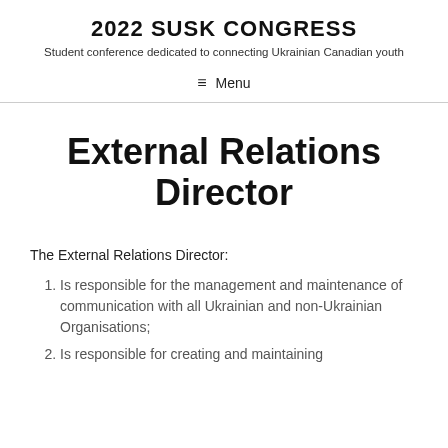2022 SUSK CONGRESS
Student conference dedicated to connecting Ukrainian Canadian youth
≡ Menu
External Relations Director
The External Relations Director:
Is responsible for the management and maintenance of communication with all Ukrainian and non-Ukrainian Organisations;
Is responsible for creating and maintaining...